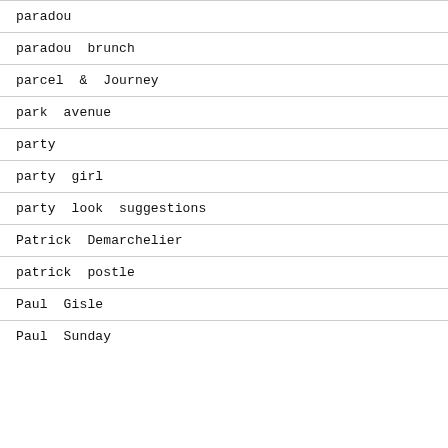paradou
paradou brunch
parcel & Journey
park avenue
party
party girl
party look suggestions
Patrick Demarchelier
patrick postle
Paul Gisle
Paul Sunday